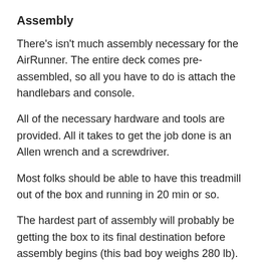Assembly
There's isn't much assembly necessary for the AirRunner. The entire deck comes pre-assembled, so all you have to do is attach the handlebars and console.
All of the necessary hardware and tools are provided. All it takes to get the job done is an Allen wrench and a screwdriver.
Most folks should be able to have this treadmill out of the box and running in 20 min or so.
The hardest part of assembly will probably be getting the box to its final destination before assembly begins (this bad boy weighs 280 lb).
Warranty